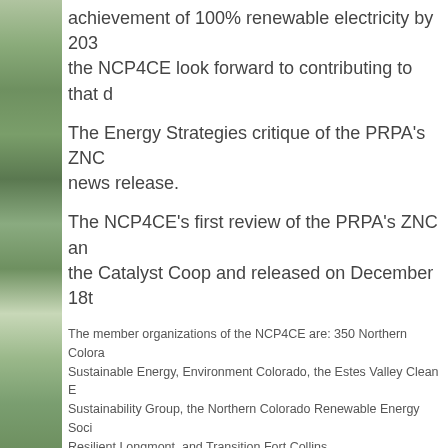achievement of 100% renewable electricity by 203... the NCP4CE look forward to contributing to that d...
The Energy Strategies critique of the PRPA's ZNC... news release.
The NCP4CE's first review of the PRPA's ZNC an... the Catalyst Coop and released on December 18t...
The member organizations of the NCP4CE are: 350 Northern Colora... Sustainable Energy, Environment Colorado, the Estes Valley Clean E... Sustainability Group, the Northern Colorado Renewable Energy Soci... Resilient Longmont, and Transition Fort Collins.
[Figure (other): PDF download link: prpa_znc_critique_executive_summary_180403.pdf with red Adobe PDF icon and green Download File link]
[Figure (other): Second PDF download link (partially visible) with red Adobe PDF icon and green Download File link]
[Figure (other): Social sharing buttons: Facebook Like 2 button (blue) and Twitter Tweet button (blue)]